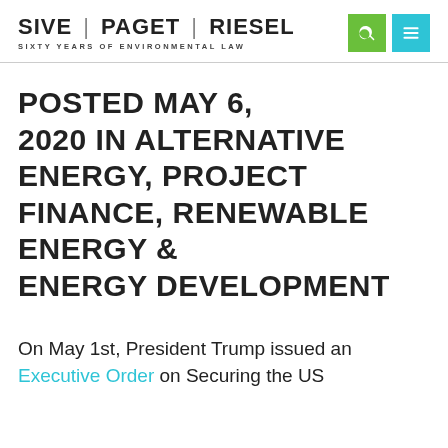SIVE | PAGET | RIESEL — SIXTY YEARS OF ENVIRONMENTAL LAW
POSTED MAY 6, 2020 IN ALTERNATIVE ENERGY, PROJECT FINANCE, RENEWABLE ENERGY & ENERGY DEVELOPMENT
On May 1st, President Trump issued an Executive Order on Securing the US